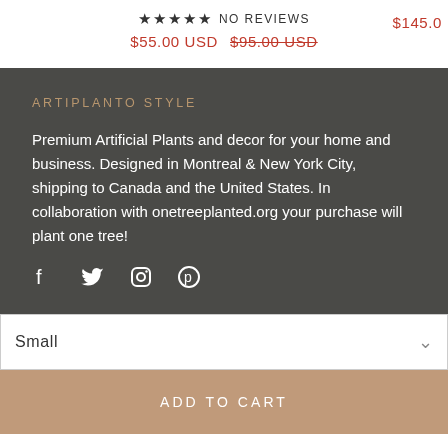★★★★★ NO REVIEWS   $145.0
$55.00 USD  $95.00 USD
ARTIPLANTO STYLE
Premium Artificial Plants and decor for your home and business. Designed in Montreal & New York City, shipping to Canada and the United States. In collaboration with onetreeplanted.org your purchase will plant one tree!
[Figure (other): Social media icons: Facebook, Twitter, Instagram, Pinterest]
Small
ADD TO CART